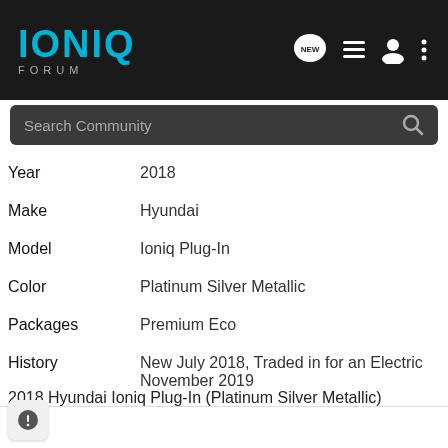IONIQ FORUM
| Field | Value |
| --- | --- |
| Year | 2018 |
| Make | Hyundai |
| Model | Ioniq Plug-In |
| Color | Platinum Silver Metallic |
| Packages | Premium Eco |
| History | New July 2018, Traded in for an Electric November 2019 |
2018 Hyundai Ioniq Plug-In (Platinum Silver Metallic)